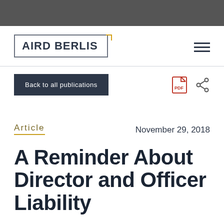[Figure (photo): Dark banner photo at top of page, likely showing people in a professional setting]
[Figure (logo): Aird Berlis law firm logo in a rectangular border with gold corner accent]
Back to all publications
Article
November 29, 2018
A Reminder About Director and Officer Liability